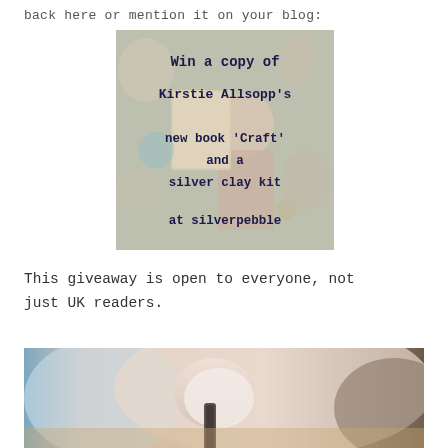back here or mention it on your blog:
[Figure (illustration): Promotional banner image with text overlay: 'Win a copy of Kirstie Allsopp's new book 'Craft' and a silver clay kit at silverpebble' on a background showing a book cover with a woman holding craft items.]
This giveaway is open to everyone, not just UK readers.
[Figure (photo): Close-up photo of hands working with silver clay, showing someone molding or shaping a small white clay form with a tool on a wooden surface.]